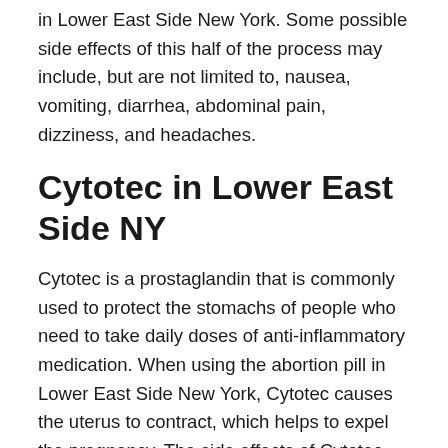in Lower East Side New York. Some possible side effects of this half of the process may include, but are not limited to, nausea, vomiting, diarrhea, abdominal pain, dizziness, and headaches.
Cytotec in Lower East Side NY
Cytotec is a prostaglandin that is commonly used to protect the stomachs of people who need to take daily doses of anti-inflammatory medication. When using the abortion pill in Lower East Side New York, Cytotec causes the uterus to contract, which helps to expel the pregnancy. The side effects of Cytotec include uterine cramping and bleeding. Other possible side effects may include nausea, vomiting, diarrhea, abdominal pain, dizziness, fever, and hot flashes.